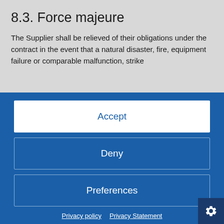8.3. Force majeure
The Supplier shall be relieved of their obligations under the contract in the event that a natural disaster, fire, equipment failure or comparable malfunction, strike
[Figure (screenshot): Cookie consent modal overlay with Accept, Deny, and Preferences buttons on blue background, with Privacy policy and Privacy Statement links]
Supplier compa... the Purchaser, the Supplier shall be released from the performance of the contract. The Supplier shall not be liable for any direct or indirect damages resulting from or related to such fail... to fulfil the contract. The Supplier shall notify the Purc... of the force majeure event immediately after its